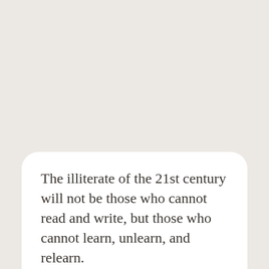The illiterate of the 21st century will not be those who cannot read and write, but those who cannot learn, unlearn, and relearn.